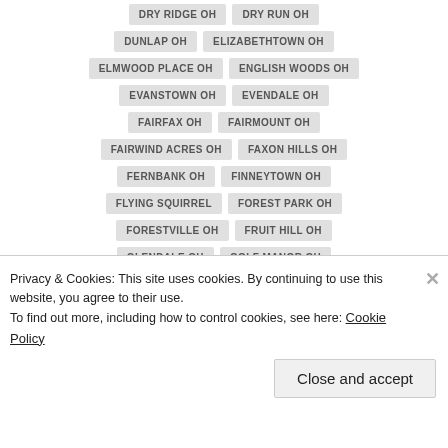DRY RIDGE OH
DRY RUN OH
DUNLAP OH
ELIZABETHTOWN OH
ELMWOOD PLACE OH
ENGLISH WOODS OH
EVANSTOWN OH
EVENDALE OH
FAIRFAX OH
FAIRMOUNT OH
FAIRWIND ACRES OH
FAXON HILLS OH
FERNBANK OH
FINNEYTOWN OH
FLYING SQUIRREL
FOREST PARK OH
FORESTVILLE OH
FRUIT HILL OH
GLENDALE OH
GOLF MANOR OH
GRANDVIEW OH
GREENHILLS OH
Privacy & Cookies: This site uses cookies. By continuing to use this website, you agree to their use.
To find out more, including how to control cookies, see here: Cookie Policy
Close and accept